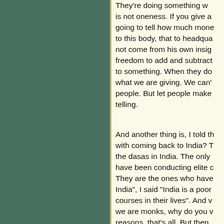They're doing something w is not oneness. If you give a going to tell how much mone to this body, that to headqua not come from his own insig freedom to add and subtract to something. When they do what we are giving. We can' people. But let people make telling.
And another thing is, I told th with coming back to India? T the dasas in India. The only have been conducting elite c They are the ones who have India", I said "India is a poor courses in their lives". And v we are monks, why do you v reasons, that's all. But then such an anathema that you people? We're only monks,